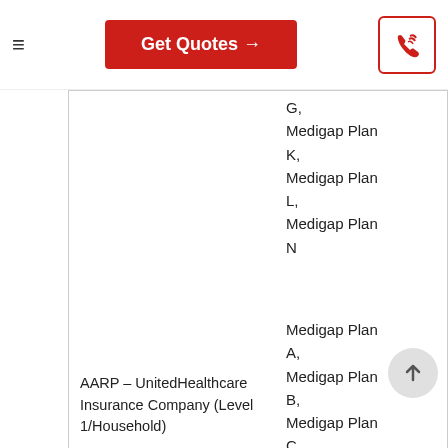Get Quotes →
G,
Medigap Plan K,
Medigap Plan L,
Medigap Plan N
Medigap Plan A,
Medigap Plan B,
Medigap Plan C,
Medigap Plan F,
Medigap Plan G,
AARP – UnitedHealthcare Insurance Company (Level 1/Household)